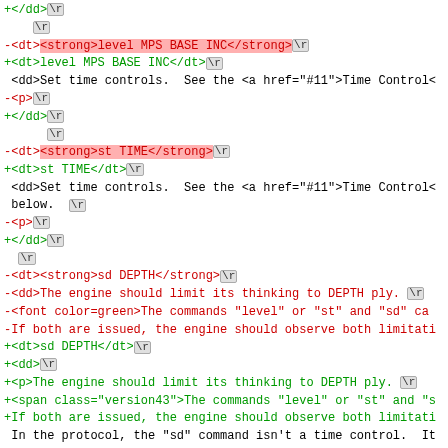Code diff showing XML/HTML changes including dt, dd, p tags and comments about engine depth and time controls
@@ -625,16 +626,16 @@ control as normal, but cut off the sea